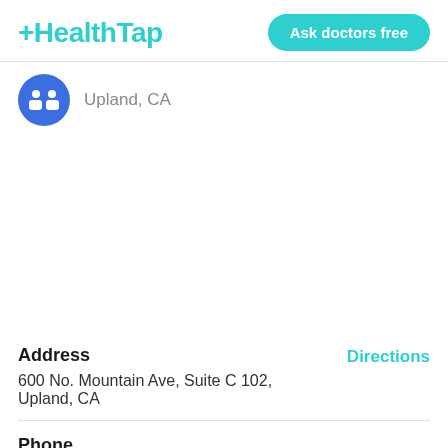HealthTap — Ask doctors free
Upland, CA
Address
600 No. Mountain Ave, Suite C 102, Upland, CA
Directions
Phone